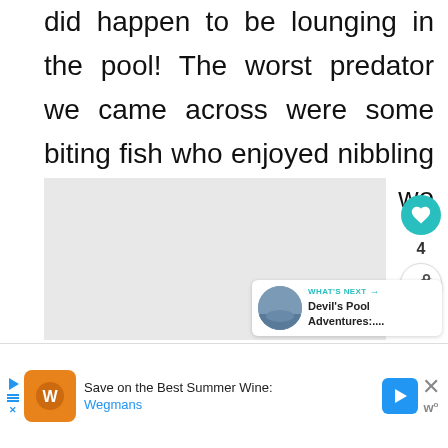did happen to be lounging in the pool! The worst predator we came across were some biting fish who enjoyed nibbling at our feet and legs as we clung on for dear life!
[Figure (other): Gray content placeholder area]
[Figure (infographic): Like button (heart icon in teal circle) with count of 4, and share button below]
[Figure (infographic): What's Next panel with thumbnail image and text: Devil's Pool Adventures:...]
[Figure (infographic): Advertisement banner: Save on the Best Summer Wine: Wegmans, with logo, play button, arrow and close button]